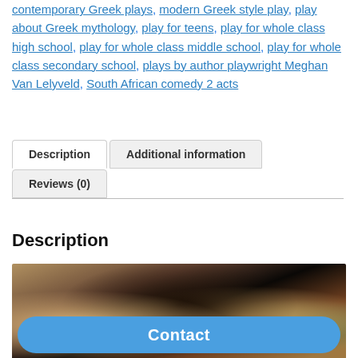contemporary Greek plays, modern Greek style play, play about Greek mythology, play for teens, play for whole class high school, play for whole class middle school, play for whole class secondary school, plays by author playwright Meghan Van Lelyveld, South African comedy 2 acts
[Figure (screenshot): Tab navigation with 'Description' (active), 'Additional information', and 'Reviews (0)' tabs]
Description
[Figure (photo): Classical painting depicting figures from Greek mythology including horses, women in robes in a landscape setting]